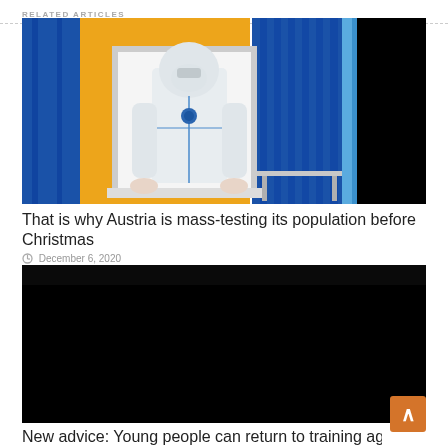RELATED ARTICLES
[Figure (photo): Healthcare worker in white PPE protective suit and mask standing at a window opening in a blue and yellow COVID-19 testing booth]
That is why Austria is mass-testing its population before Christmas
December 6, 2020
[Figure (photo): Mostly black/dark image, second article thumbnail]
New advice: Young people can return to training again